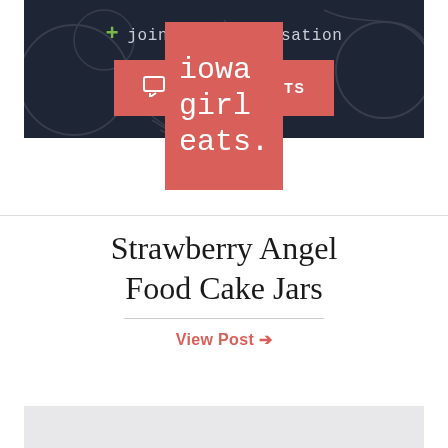[Figure (logo): Iowa Girl Eats logo — red/salmon rectangle with white monospace text reading 'iowa girl eats.']
Strawberry Angel Food Cake Jars
View Post →
+ join the conversation
☐ 112 COMMENTS